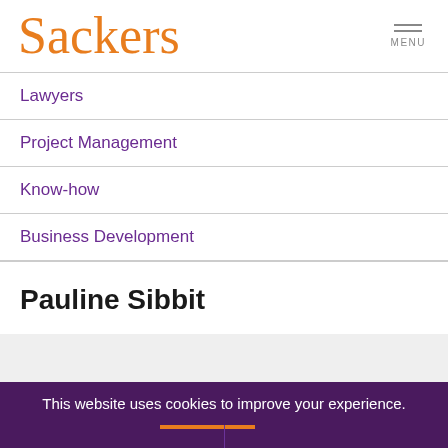Sackers
Lawyers
Project Management
Know-how
Business Development
Pauline Sibbit
This website uses cookies to improve your experience.